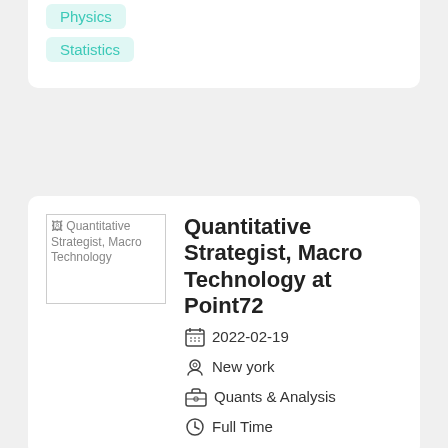Physics
Statistics
Quantitative Strategist, Macro Technology at Point72
2022-02-19
New york
Quants & Analysis
Full Time